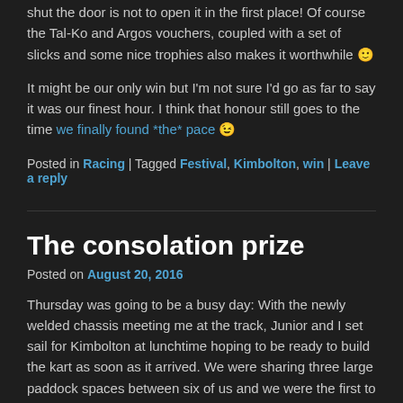shut the door is not to open it in the first place! Of course the Tal-Ko and Argos vouchers, coupled with a set of slicks and some nice trophies also makes it worthwhile 🙂
It might be our only win but I'm not sure I'd go as far to say it was our finest hour. I think that honour still goes to the time we finally found *the* pace 😉
Posted in Racing | Tagged Festival, Kimbolton, win | Leave a reply
The consolation prize
Posted on August 20, 2016
Thursday was going to be a busy day: With the newly welded chassis meeting me at the track, Junior and I set sail for Kimbolton at lunchtime hoping to be ready to build the kart as soon as it arrived. We were sharing three large paddock spaces between six of us and we were the first to arrive. We put the tents up and waited for the chassis